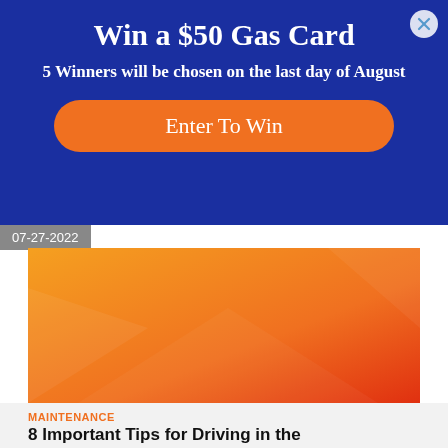Win a $50 Gas Card
5 Winners will be chosen on the last day of August
Enter To Win
07-27-2022
[Figure (illustration): Orange to red gradient abstract background image for article thumbnail]
MAINTENANCE
8 Important Tips for Driving in the